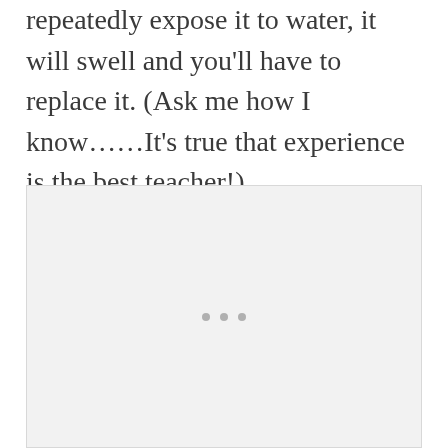repeatedly expose it to water, it will swell and you'll have to replace it. (Ask me how I know……It's true that experience is the best teacher!).
[Figure (other): A light gray placeholder image box with three small gray dots centered near the middle, indicating a loading or placeholder image area.]